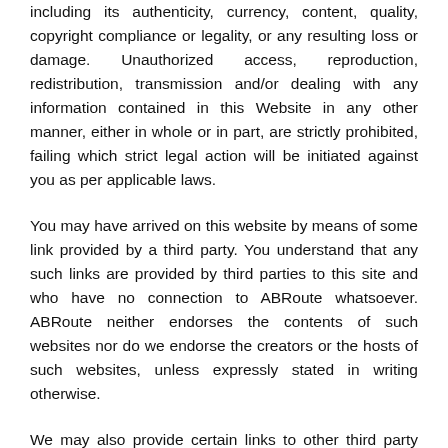including its authenticity, currency, content, quality, copyright compliance or legality, or any resulting loss or damage. Unauthorized access, reproduction, redistribution, transmission and/or dealing with any information contained in this Website in any other manner, either in whole or in part, are strictly prohibited, failing which strict legal action will be initiated against you as per applicable laws.
You may have arrived on this website by means of some link provided by a third party. You understand that any such links are provided by third parties to this site and who have no connection to ABRoute whatsoever. ABRoute neither endorses the contents of such websites nor do we endorse the creators or the hosts of such websites, unless expressly stated in writing otherwise.
We may also provide certain links to other third party websites within this Website as a convenience to you.